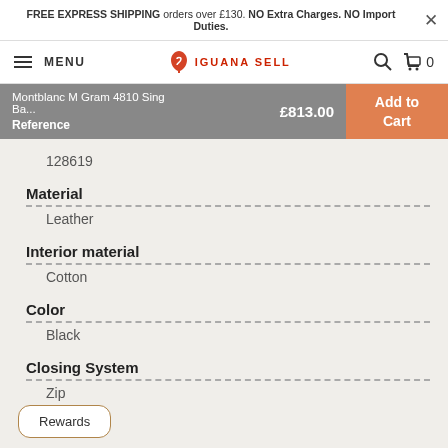FREE EXPRESS SHIPPING orders over £130. NO Extra Charges. NO Import Duties.
MENU | IGUANA SELL | 0
Montblanc M Gram 4810 Sing Ba... | Reference | £813.00 | Add to Cart
| Field | Value |
| --- | --- |
| Reference | 128619 |
| Material | Leather |
| Interior material | Cotton |
| Color | Black |
| Closing System | Zip |
Rewards